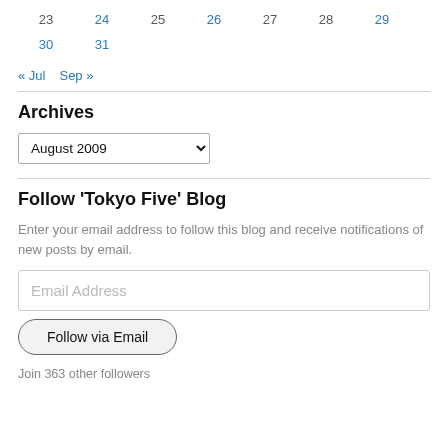| 23 | 24 | 25 | 26 | 27 | 28 | 29 |
| 30 | 31 |  |  |  |  |  |
« Jul   Sep »
Archives
August 2009
Follow 'Tokyo Five' Blog
Enter your email address to follow this blog and receive notifications of new posts by email.
Email Address
Follow via Email
Join 363 other followers